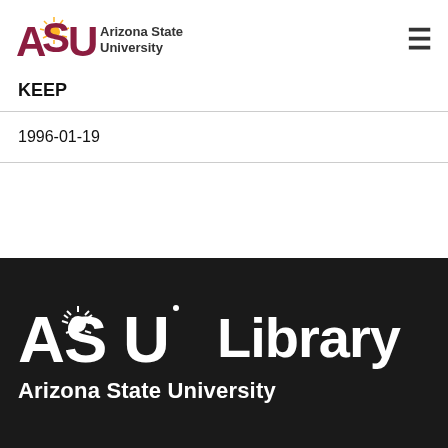[Figure (logo): ASU Arizona State University logo with sunburst icon]
KEEP
1996-01-19
[Figure (logo): ASU Library Arizona State University white logo on black background]